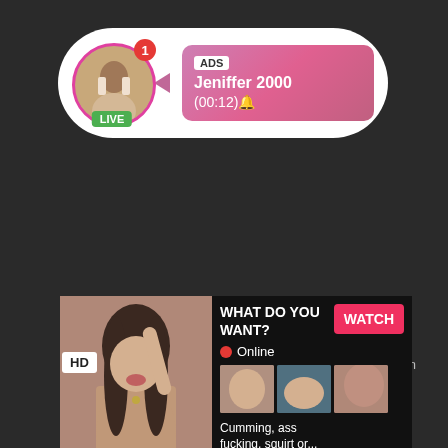[Figure (screenshot): Mobile ad notification bubble showing a woman's avatar with LIVE badge, notification badge showing '1', and an ad card with gradient pink background showing 'ADS', 'Jeniffer 2000', '(00:12)🔔']
[Figure (advertisement): Adult content ad panel with main image on left, right side showing 'WHAT DO YOU WANT?' text, red WATCH button, Online indicator, three thumbnail images, and text 'Cumming, ass fucking, squirt or... • ADS']